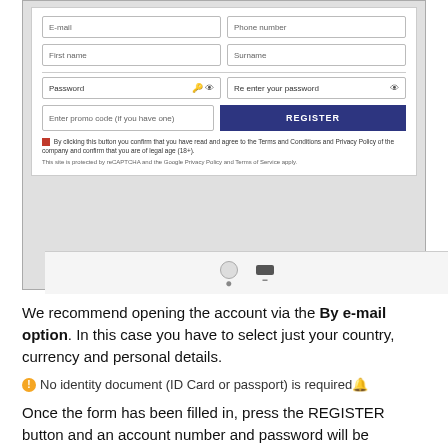[Figure (screenshot): Registration form screenshot showing fields for E-mail, Phone number, First name, Surname, Password, Re-enter password, promo code input, REGISTER button, checkbox consent text, and reCAPTCHA notice. Below the form is a navigation strip with icons.]
We recommend opening the account via the By e-mail option. In this case you have to select just your country, currency and personal details.
No identity document (ID Card or passport) is required🔔
Once the form has been filled in, press the REGISTER button and an account number and password will be provided to you automatically.